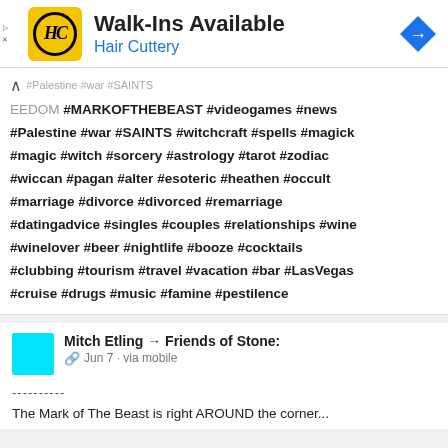[Figure (screenshot): Hair Cuttery advertisement banner with logo, Walk-Ins Available text, and navigation icon]
#EEDOM #MARKOFTHEBEAST #videogames #news #Palestine #war #SAINTS #witchcraft #spells #magick #magic #witch #sorcery #astrology #tarot #zodiac #wiccan #pagan #alter #esoteric #heathen #occult #marriage #divorce #divorced #remarriage #datingadvice #singles #couples #relationships #wine #winelover #beer #nightlife #booze #cocktails #clubbing #tourism #travel #vacation #bar #LasVegas #cruise #drugs #music #famine #pestilence
Mitch Etling → Friends of Stone:
Jun 7 · via mobile
----------
The Mark of The Beast is right AROUND the corner...